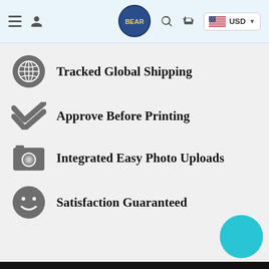Navigation header with menu, user, logo, search, cart, USD currency selector
Tracked Global Shipping
Approve Before Printing
Integrated Easy Photo Uploads
Satisfaction Guaranteed